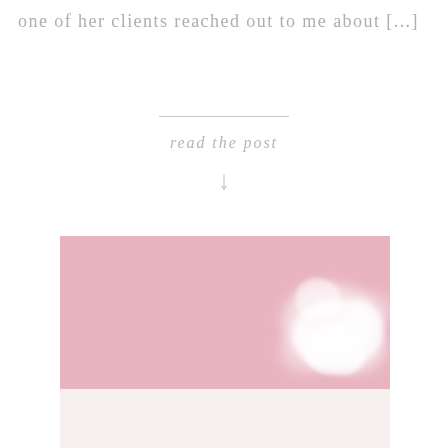one of her clients reached out to me about [...]
[Figure (photo): A soft-focus photo with a pink background and white floral/botanical elements in the foreground, resting on a light cream surface. The image has a romantic, pastel aesthetic typical of lifestyle or wedding blogs.]